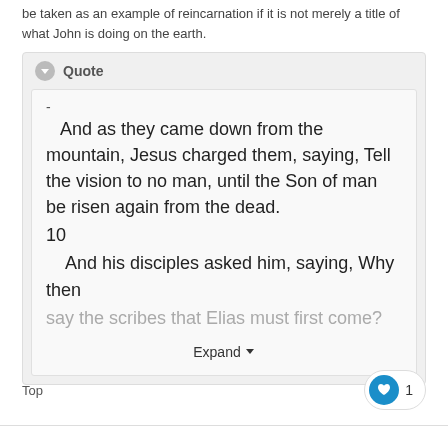be taken as an example of reincarnation if it is not merely a title of what John is doing on the earth.
Quote
-
And as they came down from the mountain, Jesus charged them, saying, Tell the vision to no man, until the Son of man be risen again from the dead.
10
And his disciples asked him, saying, Why then say the scribes that Elias must first come?
Expand
Top
1